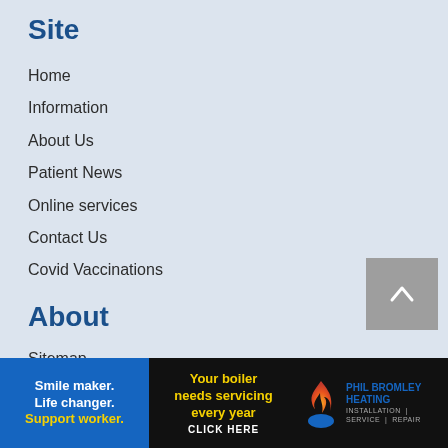Site
Home
Information
About Us
Patient News
Online services
Contact Us
Covid Vaccinations
About
Sitemap
Disclaimer
Website Privacy
Website Accessibility
[Figure (illustration): Smile maker. Life changer. Support worker. Blue advertisement banner]
[Figure (illustration): Your boiler needs servicing every year CLICK HERE. Black and yellow advertisement]
[Figure (logo): Phil Bromley Heating - Installation, Service, Repair logo with flame icon]